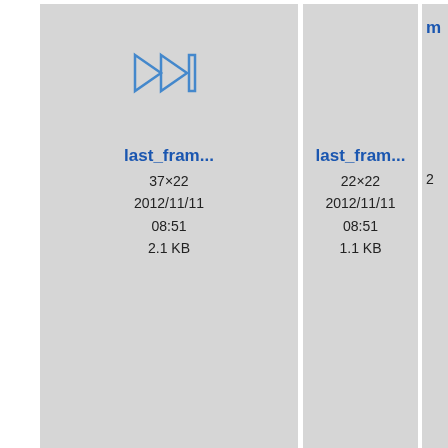[Figure (screenshot): File browser grid view showing icon tiles for image files. Top row: last_fram... (37×22, 2012/11/11 08:51, 2.1 KB) with a skip-to-end media button icon; last_fram... (22×22, 2012/11/11 08:51, 1.1 KB) with no visible icon; partial third tile labeled ma... Bottom row: marka-qt.... (22×22, 2012/11/11 08:51, 434 B) with a red 'A' icon; markb-gt... (31×22, 2012/11/11 08:51, 1.6 KB) with no icon; partial third tile.]